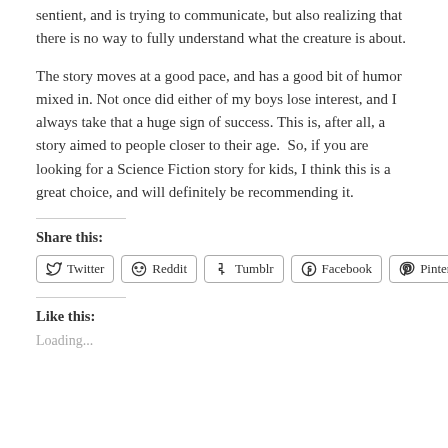sentient, and is trying to communicate, but also realizing that there is no way to fully understand what the creature is about.
The story moves at a good pace, and has a good bit of humor mixed in. Not once did either of my boys lose interest, and I always take that a huge sign of success. This is, after all, a story aimed to people closer to their age.  So, if you are looking for a Science Fiction story for kids, I think this is a great choice, and will definitely be recommending it.
Share this:
Twitter  Reddit  Tumblr  Facebook  Pinterest
Like this:
Loading...